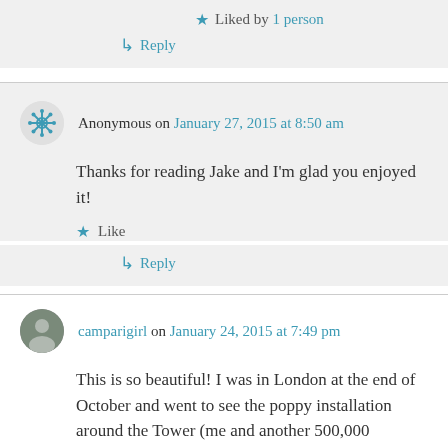★ Liked by 1 person
↳ Reply
Anonymous on January 27, 2015 at 8:50 am
Thanks for reading Jake and I'm glad you enjoyed it!
★ Like
↳ Reply
camparigirl on January 24, 2015 at 7:49 pm
This is so beautiful! I was in London at the end of October and went to see the poppy installation around the Tower (me and another 500,000